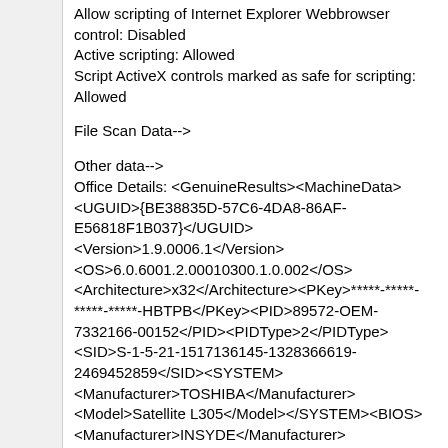Allow scripting of Internet Explorer Webbrowser control: Disabled
Active scripting: Allowed
Script ActiveX controls marked as safe for scripting: Allowed
File Scan Data-->
Other data-->
Office Details: <GenuineResults><MachineData><UGUID>{BE38835D-57C6-4DA8-86AF-E56818F1B037}</UGUID><Version>1.9.0006.1</Version><OS>6.0.6001.2.00010300.1.0.002</OS><Architecture>x32</Architecture><PKey>*****-*****-*****-*****-HBTPB</PKey><PID>89572-OEM-7332166-00152</PID><PIDType>2</PIDType><SID>S-1-5-21-1517136145-1328366619-2469452859</SID><SYSTEM><Manufacturer>TOSHIBA</Manufacturer><Model>Satellite L305</Model></SYSTEM><BIOS><Manufacturer>INSYDE</Manufacturer><Version>1.50</Version><SMBIOSVersion major="2" minor="4"/>